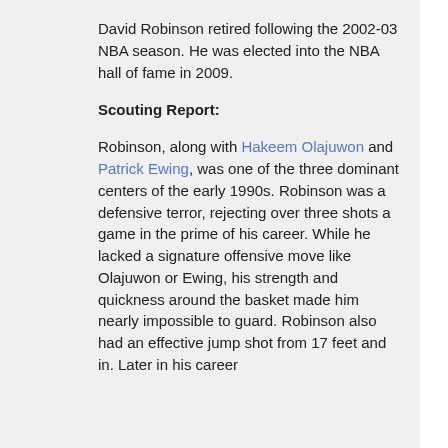David Robinson retired following the 2002-03 NBA season. He was elected into the NBA hall of fame in 2009.
Scouting Report:
Robinson, along with Hakeem Olajuwon and Patrick Ewing, was one of the three dominant centers of the early 1990s. Robinson was a defensive terror, rejecting over three shots a game in the prime of his career. While he lacked a signature offensive move like Olajuwon or Ewing, his strength and quickness around the basket made him nearly impossible to guard. Robinson also had an effective jump shot from 17 feet and in. Later in his career